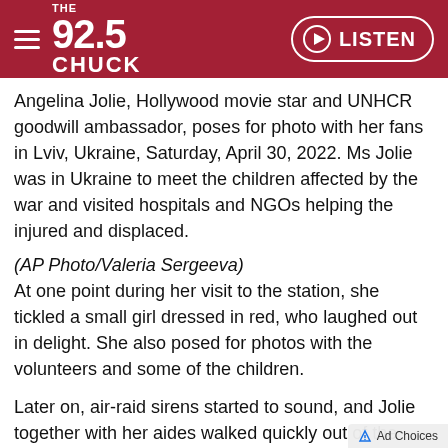THE 92.5 CHUCK — LISTEN
Angelina Jolie, Hollywood movie star and UNHCR goodwill ambassador, poses for photo with her fans in Lviv, Ukraine, Saturday, April 30, 2022. Ms Jolie was in Ukraine to meet the children affected by the war and visited hospitals and NGOs helping the injured and displaced.
(AP Photo/Valeria Sergeeva)
At one point during her visit to the station, she tickled a small girl dressed in red, who laughed out in delight. She also posed for photos with the volunteers and some of the children.
Later on, air-raid sirens started to sound, and Jolie together with her aides walked quickly out of the station and got into a waiting car.
Last month, in her role as special envoy, Jolie visited...